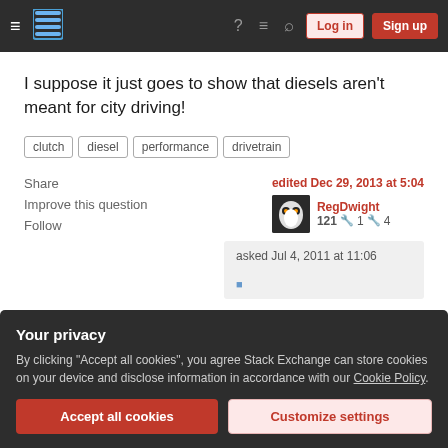Stack Exchange navigation bar with Log in and Sign up buttons
I suppose it just goes to show that diesels aren't meant for city driving!
clutch
diesel
performance
drivetrain
Share
Improve this question
Follow
edited Dec 29, 2013 at 5:04
RegDwight 121 🔧1 🔧4
asked Jul 4, 2011 at 11:06
Your privacy
By clicking "Accept all cookies", you agree Stack Exchange can store cookies on your device and disclose information in accordance with our Cookie Policy.
Accept all cookies
Customize settings